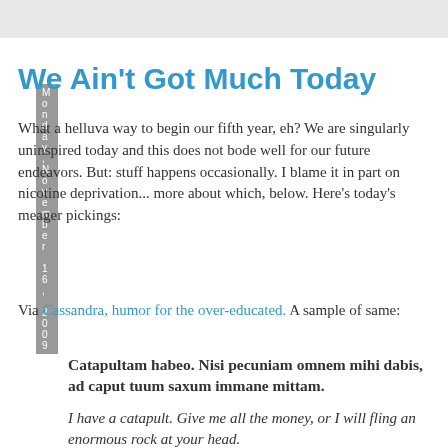Monday, November 16, 2009
We Ain't Got Much Today
What a helluva way to begin our fifth year, eh?  We are singularly uninspired today and this does not bode well for our future endeavors.  But: stuff happens occasionally.  I blame it in part on nicotine deprivation... more about which, below.  Here's today's meager pickings:
Via Cassandra, humor for the over-educated.  A sample of same:
Catapultam habeo. Nisi pecuniam omnem mihi dabis, ad caput tuum saxum immane mittam.
I have a catapult. Give me all the money, or I will fling an enormous rock at your head.